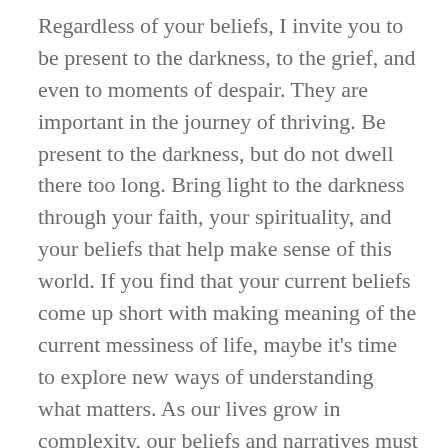Regardless of your beliefs, I invite you to be present to the darkness, to the grief, and even to moments of despair. They are important in the journey of thriving. Be present to the darkness, but do not dwell there too long. Bring light to the darkness through your faith, your spirituality, and your beliefs that help make sense of this world. If you find that your current beliefs come up short with making meaning of the current messiness of life, maybe it's time to explore new ways of understanding what matters. As our lives grow in complexity, our beliefs and narratives must also evolve to bring the necessary breadth and depth to making sense of our lives. For example, extending grace and compassion to ourselves and to others at age 8 is different than at 18 or even 58. (I'm just saying: at 8, grace seemed pretty straightforward. At 18, I thought I had it figured out. Middle-aged, I'm humbled by the complexity of such a gift.)